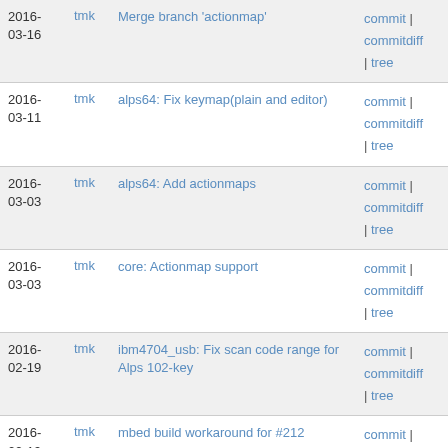| Date | Author | Message | Links |
| --- | --- | --- | --- |
| 2016-03-16 | tmk | Merge branch 'actionmap' | commit | commitdiff | tree |
| 2016-03-11 | tmk | alps64: Fix keymap(plain and editor) | commit | commitdiff | tree |
| 2016-03-03 | tmk | alps64: Add actionmaps | commit | commitdiff | tree |
| 2016-03-03 | tmk | core: Actionmap support | commit | commitdiff | tree |
| 2016-02-19 | tmk | ibm4704_usb: Fix scan code range for Alps 102-key | commit | commitdiff | tree |
| 2016-02-19 | tmk | mbed build workaround for #212 | commit | commitdiff | tree |
| 2016-02-17 | tmk | core: Fix chibios user compile options | commit | commitdiff | tree |